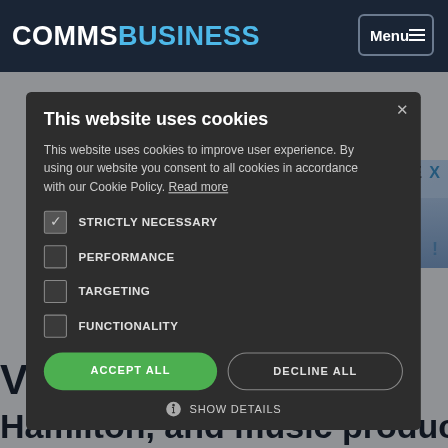COMMSBUSINESS
This website uses cookies
This website uses cookies to improve user experience. By using our website you consent to all cookies in accordance with our Cookie Policy. Read more
STRICTLY NECESSARY
PERFORMANCE
TARGETING
FUNCTIONALITY
ACCEPT ALL
DECLINE ALL
SHOW DETAILS
...tential
e Hathway
Vorld Champio
Hamilton, and music producer Jay Keys ha